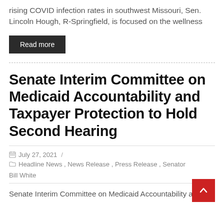rising COVID infection rates in southwest Missouri, Sen. Lincoln Hough, R-Springfield, is focused on the wellness
Read more
Senate Interim Committee on Medicaid Accountability and Taxpayer Protection to Hold Second Hearing
July 27, 2021 / Headline News, News Release, Press Release, Senator Bill White
Senate Interim Committee on Medicaid Accountability and